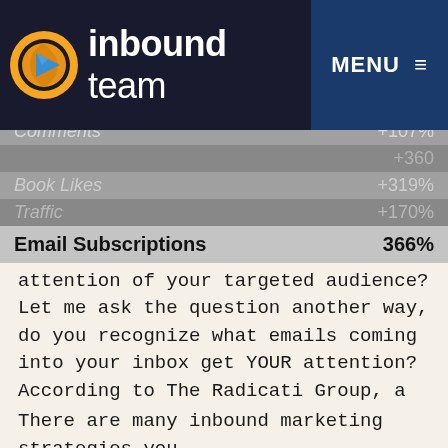inbound team — MENU
|  |  |
| --- | --- |
| Comments | +107% |
|  | +360% |
| Book Likes | +319% |
| Traffic | +170% |
| Email Subscriptions | 366% |
Are your emails getting the attention of your targeted audience? Let me ask the question another way, do you recognize what emails coming into your inbox get YOUR attention? According to The Radicati Group, a technology market research firm, the typical corporate email user sends and receives about 105 email messages per day. Is your message getting through in this overcrowded and cluttered media space, and how can you make sure your email headline stand out?
There are many inbound marketing strategies you can use to get your message across, but the most...